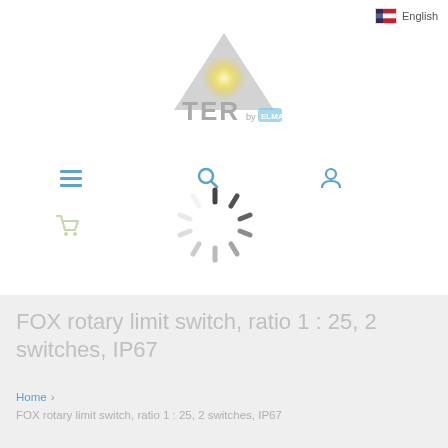[Figure (logo): TER by ELMA logo: grey triangle with yellow-white circle inside, text TER in grey, 'by ELMA' in blue rounded rectangle]
[Figure (screenshot): Navigation bar with hamburger menu, search, and user icons in blue; shopping cart icon in light yellow-green; loading spinner (dark grey rotating dashes) in center]
FOX rotary limit switch, ratio 1 : 25, 2 switches, IP67
Home › FOX rotary limit switch, ratio 1 : 25, 2 switches, IP67